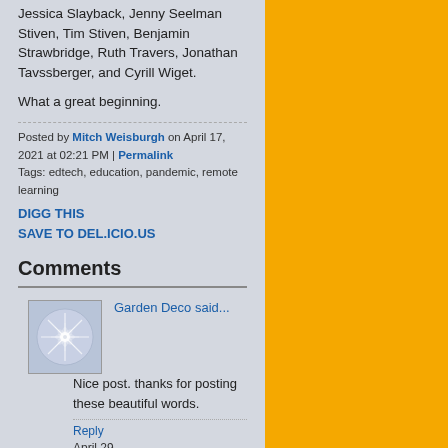Jessica Slayback, Jenny Seelman Stiven, Tim Stiven, Benjamin Strawbridge, Ruth Travers, Jonathan Tavssberger, and Cyrill Wiget.
What a great beginning.
Posted by Mitch Weisburgh on April 17, 2021 at 02:21 PM | Permalink
Tags: edtech, education, pandemic, remote learning
DIGG THIS
SAVE TO DEL.ICIO.US
Comments
Garden Deco said...
[Figure (illustration): Avatar image with geometric snowflake/star pattern on blue-grey background]
Nice post. thanks for posting these beautiful words.
Reply
April 29